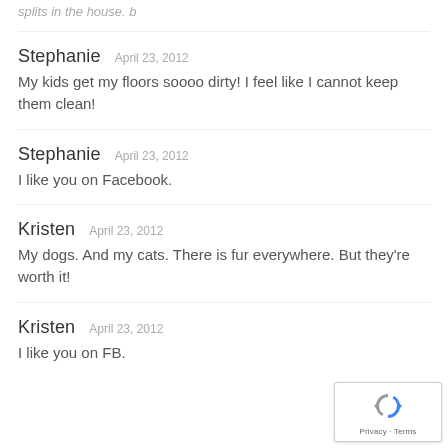splits in the house. b
Stephanie   April 23, 2012
My kids get my floors soooo dirty! I feel like I cannot keep them clean!
Stephanie   April 23, 2012
I like you on Facebook.
Kristen   April 23, 2012
My dogs. And my cats. There is fur everywhere. But they're worth it!
Kristen   April 23, 2012
I like you on FB.
[Figure (other): reCAPTCHA badge with Privacy and Terms links]